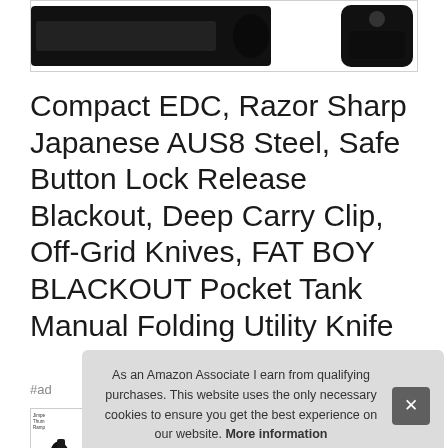[Figure (photo): Partial product image of a black folding pocket knife shown at the top of the page, cropped, with a dark blade visible on the left and a rounded black handle piece on the right]
Compact EDC, Razor Sharp Japanese AUS8 Steel, Safe Button Lock Release Blackout, Deep Carry Clip, Off-Grid Knives, FAT BOY BLACKOUT Pocket Tank Manual Folding Utility Knife
#ad
[Figure (photo): Small thumbnail image of a product (knife) with text overlay showing partial product title and label]
As an Amazon Associate I earn from qualifying purchases. This website uses the only necessary cookies to ensure you get the best experience on our website. More information